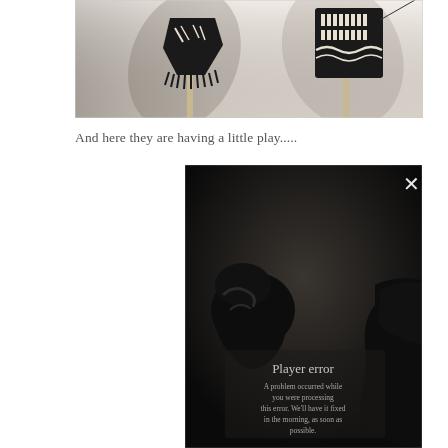[Figure (photo): Black shadow puppet figures on wooden sticks photographed against a light background, showing silhouettes with decorative cutouts]
And here they are having a little play.....
[Figure (screenshot): Video player screenshot showing two shadow puppet figures facing each other in a dark scene, with a 'Player error' overlay message and an X close button in the top right corner]